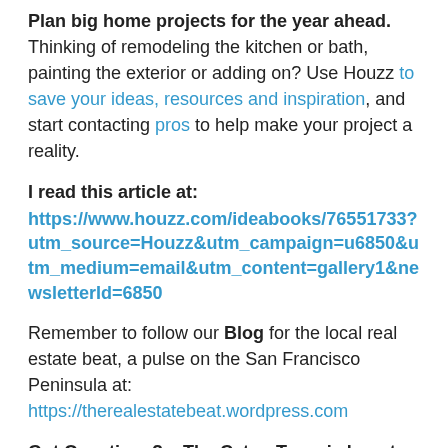Plan big home projects for the year ahead. Thinking of remodeling the kitchen or bath, painting the exterior or adding on? Use Houzz to save your ideas, resources and inspiration, and start contacting pros to help make your project a reality.
I read this article at:
https://www.houzz.com/ideabooks/76551733?utm_source=Houzz&utm_campaign=u6850&utm_medium=email&utm_content=gallery1&newsletterId=6850
Remember to follow our Blog for the local real estate beat, a pulse on the San Francisco Peninsula at: https://therealestatebeat.wordpress.com
Got Questions? – The Caton Team is here to help.